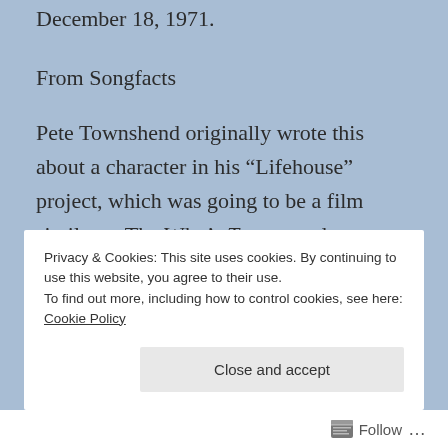December 18, 1971.
From Songfacts
Pete Townshend originally wrote this about a character in his “Lifehouse” project, which was going to be a film similar to The Who’s Tommy and Quadrophenia. Townshend never finished “Lifehouse,” but the songs ended up on the album Who’s Next.
Pete Townshend and Roger Daltrey both have
Privacy & Cookies: This site uses cookies. By continuing to use this website, you agree to their use.
To find out more, including how to control cookies, see here: Cookie Policy
Close and accept
Follow